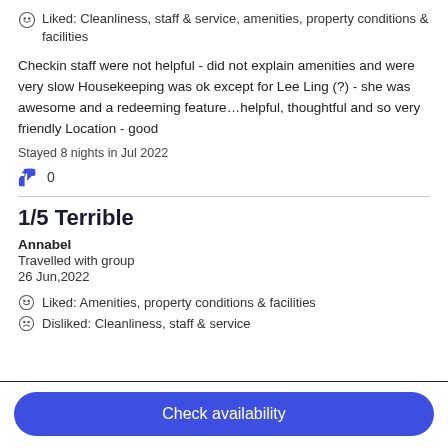Liked: Cleanliness, staff & service, amenities, property conditions & facilities
Checkin staff were not helpful - did not explain amenities and were very slow Housekeeping was ok except for Lee Ling (?) - she was awesome and a redeeming feature…helpful, thoughtful and so very friendly Location - good
Stayed 8 nights in Jul 2022
0
1/5 Terrible
Annabel
Travelled with group
26 Jun,2022
Liked: Amenities, property conditions & facilities
Disliked: Cleanliness, staff & service
Check availability